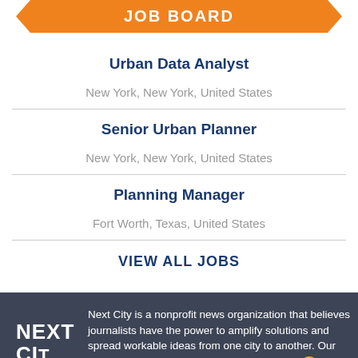JOB BOARD
Urban Data Analyst
New York, New York, United States
Senior Urban Planner
New York, New York, United States
Planning Manager
Fort Worth, Texas, United States
VIEW ALL JOBS
Next City is a nonprofit news organization that believes journalists have the power to amplify solutions and spread workable ideas from one city to another. Our journalism focuses on the people, policies, and programs transforming cities.
Get our stories delivered directly to your phone with the NEW Next City app!